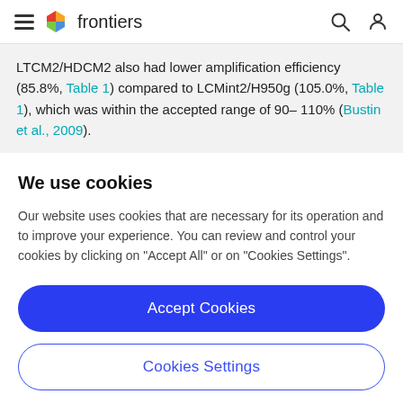frontiers
LTCM2/HDCM2 also had lower amplification efficiency (85.8%, Table 1) compared to LCMint2/H950g (105.0%, Table 1), which was within the accepted range of 90–110% (Bustin et al., 2009).
We use cookies
Our website uses cookies that are necessary for its operation and to improve your experience. You can review and control your cookies by clicking on "Accept All" or on "Cookies Settings".
Accept Cookies
Cookies Settings